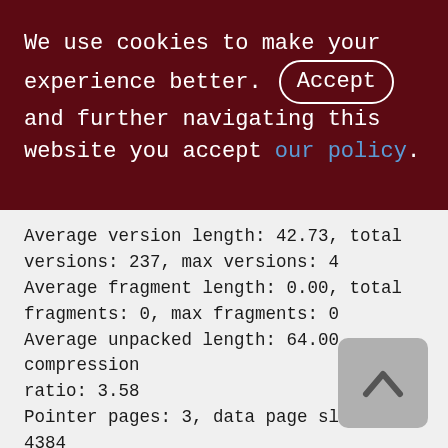We use cookies to make your experience better. By accepting and further navigating this website you accept our policy.
Average version length: 42.73, total versions: 237, max versions: 4
Average fragment length: 0.00, total fragments: 0, max fragments: 0
Average unpacked length: 64.00, compression ratio: 3.58
Pointer pages: 3, data page slots: 4384
Data pages: 4384, average fill: 76%
Primary pages: 4384, secondary pages: 0, swept pages: 3749
Empty pages: 6, full pages: 4274
Fill distribution: